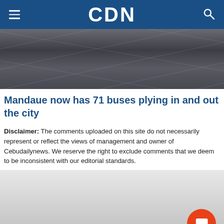CDN
[Figure (photo): Interior photo showing a floor with blue-gray tones and faint line markings, likely a bus terminal or parking area.]
Mandaue now has 71 buses plying in and out the city
Disclaimer: The comments uploaded on this site do not necessarily represent or reflect the views of management and owner of Cebudailynews. We reserve the right to exclude comments that we deem to be inconsistent with our editorial standards.
[Figure (screenshot): Comment section area with light gray background and an orange chat/comment button in the bottom right corner.]